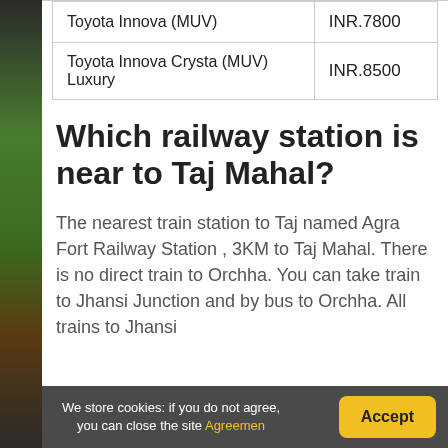| Vehicle | Price |
| --- | --- |
| Toyota Innova (MUV) | INR.7800 |
| Toyota Innova Crysta (MUV) Luxury | INR.8500 |
Which railway station is near to Taj Mahal?
The nearest train station to Taj named Agra Fort Railway Station , 3KM to Taj Mahal. There is no direct train to Orchha. You can take train to Jhansi Junction and by bus to Orchha. All trains to Jhansi
We store cookies: if you do not agree, you can close the site Agreemen [Accept]